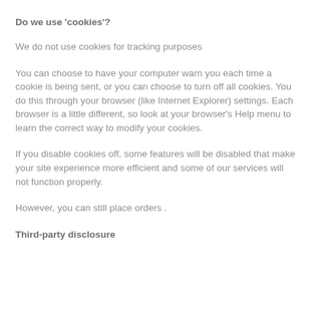Do we use 'cookies'?
We do not use cookies for tracking purposes
You can choose to have your computer warn you each time a cookie is being sent, or you can choose to turn off all cookies. You do this through your browser (like Internet Explorer) settings. Each browser is a little different, so look at your browser's Help menu to learn the correct way to modify your cookies.
If you disable cookies off, some features will be disabled that make your site experience more efficient and some of our services will not function properly.
However, you can still place orders .
Third-party disclosure